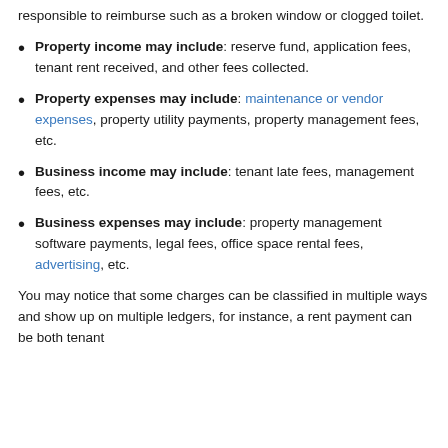responsible to reimburse such as a broken window or clogged toilet.
Property income may include: reserve fund, application fees, tenant rent received, and other fees collected.
Property expenses may include: maintenance or vendor expenses, property utility payments, property management fees, etc.
Business income may include: tenant late fees, management fees, etc.
Business expenses may include: property management software payments, legal fees, office space rental fees, advertising, etc.
You may notice that some charges can be classified in multiple ways and show up on multiple ledgers, for instance, a rent payment can be both tenant